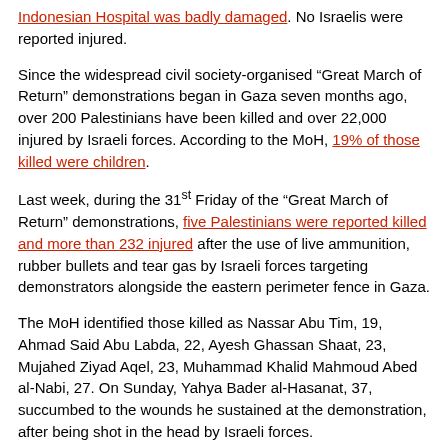Indonesian Hospital was badly damaged. No Israelis were reported injured.
Since the widespread civil society-organised “Great March of Return” demonstrations began in Gaza seven months ago, over 200 Palestinians have been killed and over 22,000 injured by Israeli forces. According to the MoH, 19% of those killed were children.
Last week, during the 31st Friday of the “Great March of Return” demonstrations, five Palestinians were reported killed and more than 232 injured after the use of live ammunition, rubber bullets and tear gas by Israeli forces targeting demonstrators alongside the eastern perimeter fence in Gaza.
The MoH identified those killed as Nassar Abu Tim, 19, Ahmad Said Abu Labda, 22, Ayesh Ghassan Shaat, 23, Mujahed Ziyad Aqel, 23, Muhammad Khalid Mahmoud Abed al-Nabi, 27. On Sunday, Yahya Bader al-Hasanat, 37, succumbed to the wounds he sustained at the demonstration, after being shot in the head by Israeli forces.
Among those reported injured on Friday were 35 children and four paramedics.